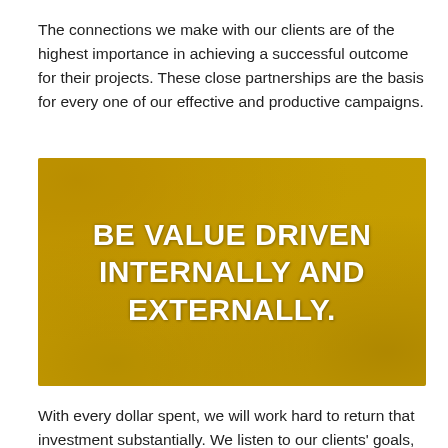The connections we make with our clients are of the highest importance in achieving a successful outcome for their projects. These close partnerships are the basis for every one of our effective and productive campaigns.
[Figure (illustration): Golden yellow textured background image with bold white text reading 'BE VALUE DRIVEN INTERNALLY AND EXTERNALLY.']
With every dollar spent, we will work hard to return that investment substantially. We listen to our clients' goals, their